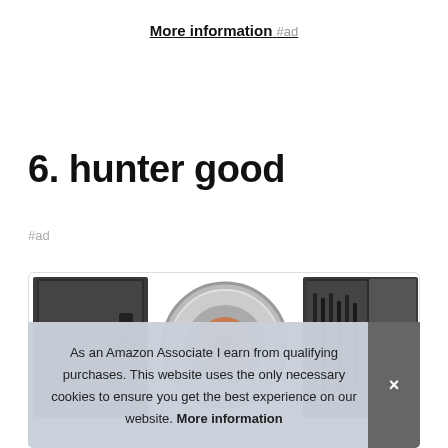More information #ad
6. hunter good
#ad
[Figure (photo): Product card showing three gun safes/security safes side by side with a round biometric lock in the center]
As an Amazon Associate I earn from qualifying purchases. This website uses the only necessary cookies to ensure you get the best experience on our website. More information